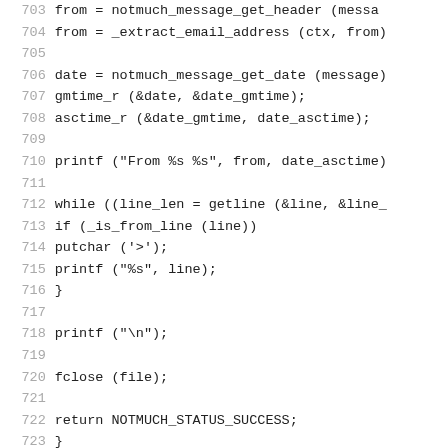Source code listing lines 703–732, C language code for notmuch email client including format_part_raw function